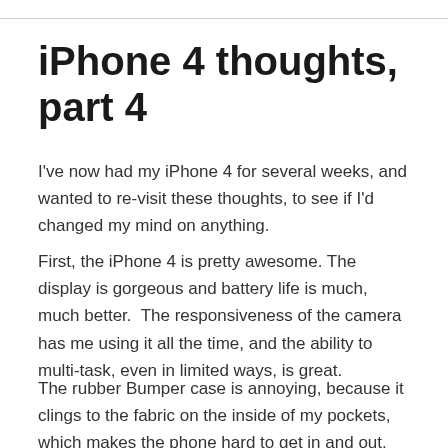iPhone 4 thoughts, part 4
I've now had my iPhone 4 for several weeks, and wanted to re-visit these thoughts, to see if I'd changed my mind on anything.
First, the iPhone 4 is pretty awesome. The display is gorgeous and battery life is much, much better.  The responsiveness of the camera has me using it all the time, and the ability to multi-task, even in limited ways, is great.
The rubber Bumper case is annoying, because it clings to the fabric on the inside of my pockets, which makes the phone hard to get in and out.  This leads to me not